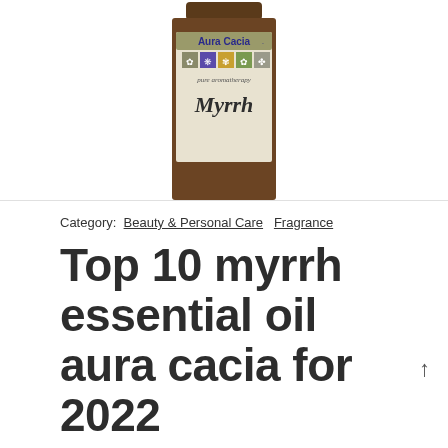[Figure (photo): Aura Cacia Myrrh essential oil bottle label showing brand logo with colored tiles and 'pure aromatherapy Myrrh' text on a brown glass bottle]
Category: Beauty & Personal Care  Fragrance
Top 10 myrrh essential oil aura cacia for 2022
Shopping myrrh essential oil aura cacia has never been easy. You may come many of